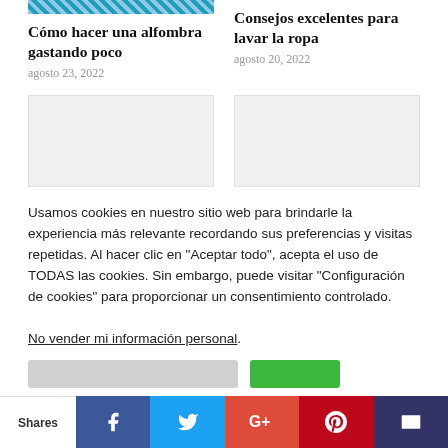[Figure (photo): Partial top image strip visible at top of left column]
Cómo hacer una alfombra gastando poco
agosto 23, 2022
Consejos excelentes para lavar la ropa
agosto 20, 2022
[Figure (photo): Gray placeholder image box, left column]
[Figure (photo): Gray placeholder image box, right column]
Usamos cookies en nuestro sitio web para brindarle la experiencia más relevante recordando sus preferencias y visitas repetidas. Al hacer clic en "Aceptar todo", acepta el uso de TODAS las cookies. Sin embargo, puede visitar "Configuración de cookies" para proporcionar un consentimiento controlado.
No vender mi información personal.
Shares  [Facebook] [Twitter] [Google+] [Pinterest] [Email]